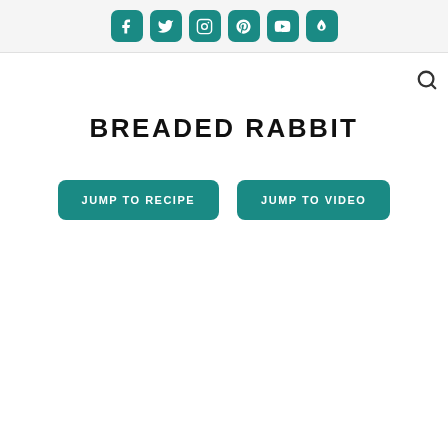Social media icons: Facebook, Twitter, Instagram, Pinterest, YouTube, Tasty
BREADED RABBIT
JUMP TO RECIPE
JUMP TO VIDEO